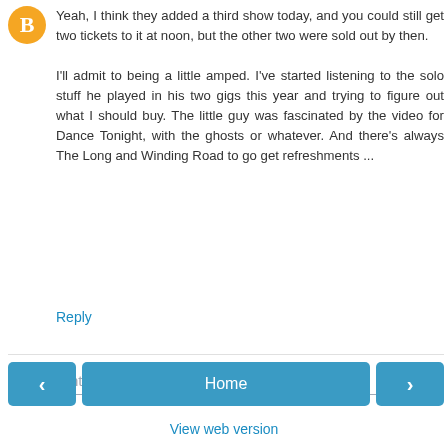Yeah, I think they added a third show today, and you could still get two tickets to it at noon, but the other two were sold out by then.

I'll admit to being a little amped. I've started listening to the solo stuff he played in his two gigs this year and trying to figure out what I should buy. The little guy was fascinated by the video for Dance Tonight, with the ghosts or whatever. And there's always The Long and Winding Road to go get refreshments ...
Reply
Enter Comment
Home
View web version